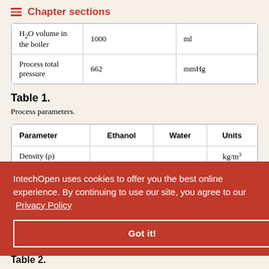Chapter sections
|  |  |  |
| --- | --- | --- |
| H₂O volume in the boiler | 1000 | ml |
| Process total pressure | 662 | mmHg |
Table 1.
Process parameters.
| Parameter | Ethanol | Water | Units |
| --- | --- | --- | --- |
| Density (ρ) |  |  | kg/m³ |
|  |  | 8 | g/mol |
|  |  |  | °C |
IntechOpen uses cookies to offer you the best online experience. By continuing to use our site, you agree to our Privacy Policy
Table 2.